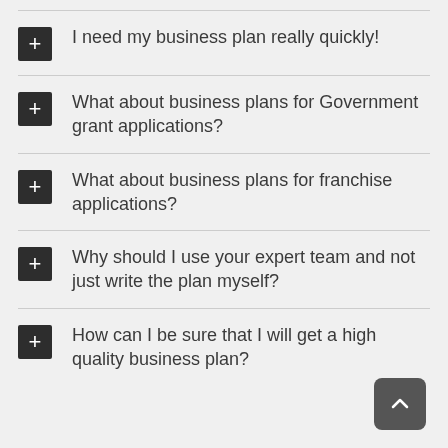I need my business plan really quickly!
What about business plans for Government grant applications?
What about business plans for franchise applications?
Why should I use your expert team and not just write the plan myself?
How can I be sure that I will get a high quality business plan?